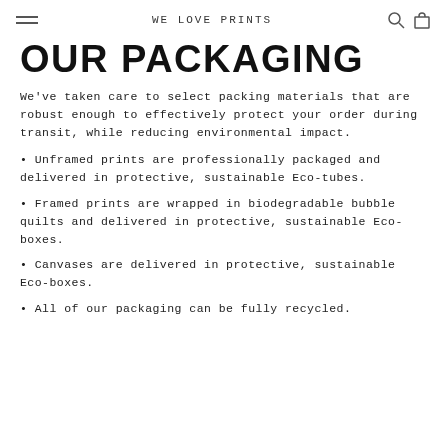WE LOVE PRINTS
OUR PACKAGING
We've taken care to select packing materials that are robust enough to effectively protect your order during transit, while reducing environmental impact.
Unframed prints are professionally packaged and delivered in protective, sustainable Eco-tubes.
Framed prints are wrapped in biodegradable bubble quilts and delivered in protective, sustainable Eco-boxes.
Canvases are delivered in protective, sustainable Eco-boxes.
All of our packaging can be fully recycled.